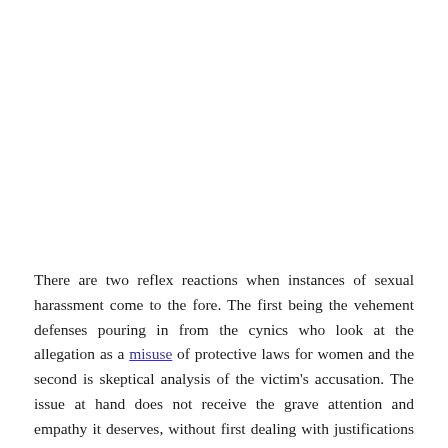There are two reflex reactions when instances of sexual harassment come to the fore. The first being the vehement defenses pouring in from the cynics who look at the allegation as a misuse of protective laws for women and the second is skeptical analysis of the victim's accusation. The issue at hand does not receive the grave attention and empathy it deserves, without first dealing with justifications regarding misandry and vested ulterior motives. When I wrote about this issue in the past, I found myself objectively and